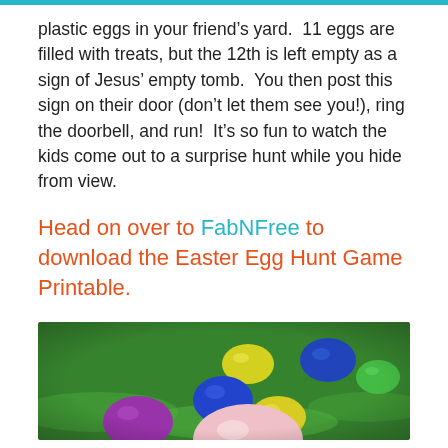plastic eggs in your friend’s yard.  11 eggs are filled with treats, but the 12th is left empty as a sign of Jesus’ empty tomb.  You then post this sign on their door (don’t let them see you!), ring the doorbell, and run!  It’s so fun to watch the kids come out to a surprise hunt while you hide from view.
Head on over to FabNFree to download the Easter Egg Hunt Game Printable.
[Figure (photo): Photo of colorful plastic Easter eggs (purple, blue, yellow, green, pink) resting on bright green grass/Easter grass.]